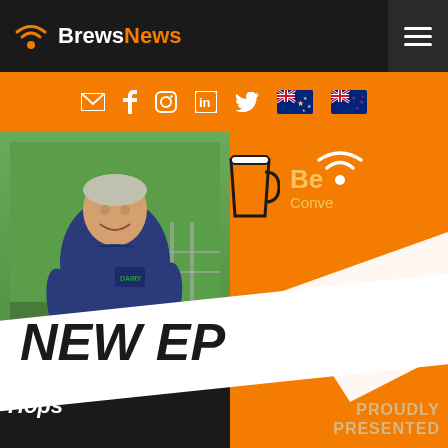BrewsNews
[Figure (screenshot): BrewsNews website header screenshot showing logo, navigation bar with social media icons (email, Facebook, Instagram, LinkedIn, Twitter), Australian and New Zealand flags, and a podcast episode thumbnail featuring a man in a blue shirt holding a hat outdoors, with orange and black branding showing 'Beer Conversations NEW EPISODE' text, name 'ARSON' (partially visible), 'Hops', and 'PROUDLY PRESENTED' text]